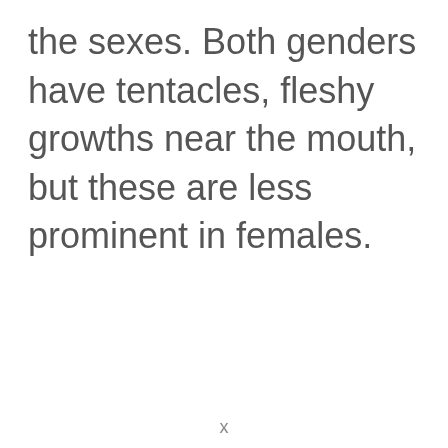the sexes. Both genders have tentacles, fleshy growths near the mouth, but these are less prominent in females.
x